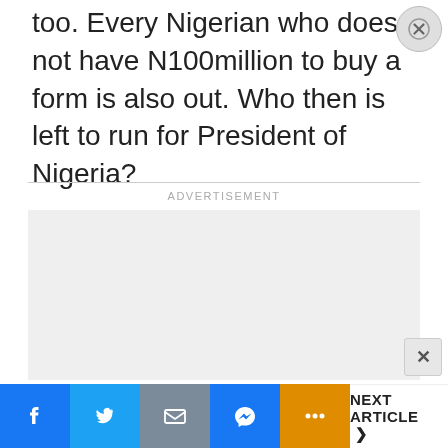too. Every Nigerian who does not have N100million to buy a form is also out. Who then is left to run for President of Nigeria?
[Figure (other): Advertisement placeholder box (gray rectangle)]
Facebook | Twitter | Mail | Messenger | More | NEXT ARTICLE >